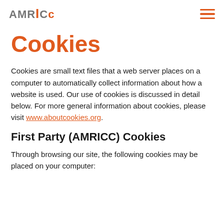AMRICC [logo with hamburger menu]
Cookies
Cookies are small text files that a web server places on a computer to automatically collect information about how a website is used. Our use of cookies is discussed in detail below. For more general information about cookies, please visit www.aboutcookies.org.
First Party (AMRICC) Cookies
Through browsing our site, the following cookies may be placed on your computer: